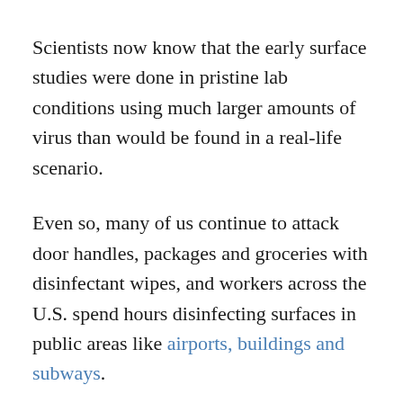Scientists now know that the early surface studies were done in pristine lab conditions using much larger amounts of virus than would be found in a real-life scenario.
Even so, many of us continue to attack door handles, packages and groceries with disinfectant wipes, and workers across the U.S. spend hours disinfecting surfaces in public areas like airports, buildings and subways.
There's no scientific data to justify this, says Dr. Kevin Fennelly, a respiratory infection specialist with the National Institutes of Health.
"When you see people doing spray disinfection of streets and sidewalks and walls and subways, I just don't know of any data that supports the fact that we're getting infected from